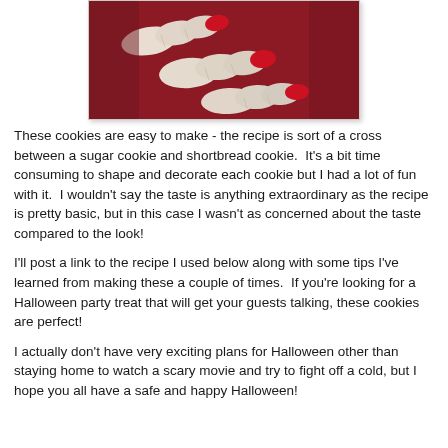[Figure (photo): Close-up photo of finger-shaped cookies shaped like severed fingers with red nail polish tips on a dark red/maroon background, Halloween themed]
These cookies are easy to make - the recipe is sort of a cross between a sugar cookie and shortbread cookie.  It's a bit time consuming to shape and decorate each cookie but I had a lot of fun with it.  I wouldn't say the taste is anything extraordinary as the recipe is pretty basic, but in this case I wasn't as concerned about the taste compared to the look!
I'll post a link to the recipe I used below along with some tips I've learned from making these a couple of times.  If you're looking for a Halloween party treat that will get your guests talking, these cookies are perfect!
I actually don't have very exciting plans for Halloween other than staying home to watch a scary movie and try to fight off a cold, but I hope you all have a safe and happy Halloween!